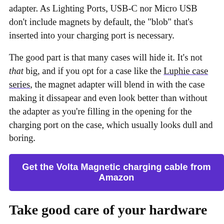adapter. As Lighting Ports, USB-C nor Micro USB don't include magnets by default, the "blob" that's inserted into your charging port is necessary.
The good part is that many cases will hide it. It's not that big, and if you opt for a case like the Luphie case series, the magnet adapter will blend in with the case making it dissapear and even look better than without the adapter as you're filling in the opening for the charging port on the case, which usually looks dull and boring.
Get the Volta Magnetic charging cable from Amazon
Take good care of your hardware